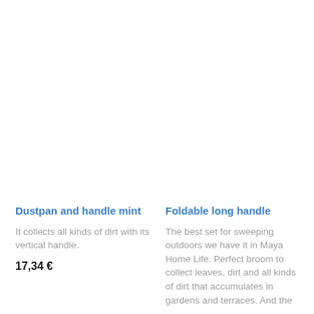Dustpan and handle mint
It collects all kinds of dirt with its vertical handle.
17,34 €
Foldable long handle
The best set for sweeping outdoors we have it in Maya Home Life. Perfect broom to collect leaves, dirt and all kinds of dirt that accumulates in gardens and terraces. And the